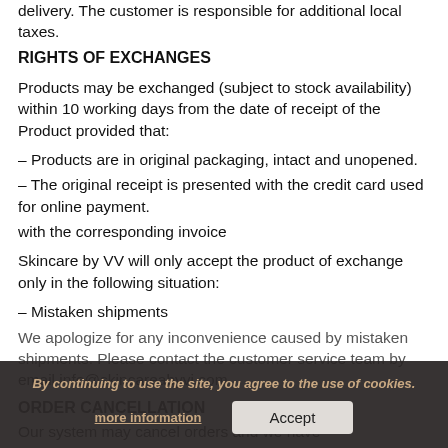delivery. The customer is responsible for additional local taxes.
RIGHTS OF EXCHANGES
Products may be exchanged (subject to stock availability) within 10 working days from the date of receipt of the Product provided that:
– Products are in original packaging, intact and unopened.
– The original receipt is presented with the credit card used for online payment.
with the corresponding invoice
Skincare by VV will only accept the product of exchange only in the following situation:
– Mistaken shipments
We apologize for any inconvenience caused by mistaken shipments. Please contact the customer service team by email info@skincareabyvi.com
ORDER CANCELLATION
Our system may cancel orders and we have